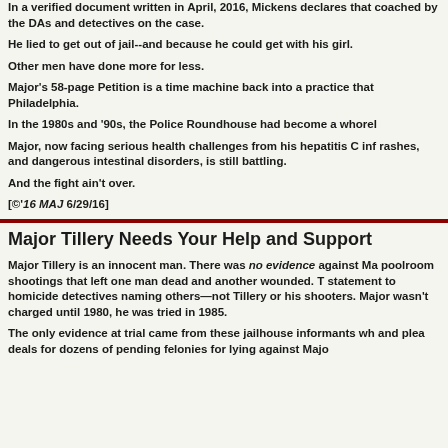In a verified document written in April, 2016, Mickens declares that coached by the DAs and detectives on the case.
He lied to get out of jail--and because he could get with his girl.
Other men have done more for less.
Major's 58-page Petition is a time machine back into a practice that Philadelphia.
In the 1980s and '90s, the Police Roundhouse had become a whorel
Major, now facing serious health challenges from his hepatitis C inf rashes, and dangerous intestinal disorders, is still battling.
And the fight ain't over.
[©'16 MAJ  6/29/16]
Major Tillery Needs Your Help and Support
Major Tillery is an innocent man. There was no evidence against Ma poolroom shootings that left one man dead and another wounded. T statement to homicide detectives naming others—not Tillery or his shooters. Major wasn't charged until 1980, he was tried in 1985.
The only evidence at trial came from these jailhouse informants wh and plea deals for dozens of pending felonies for lying against Majo